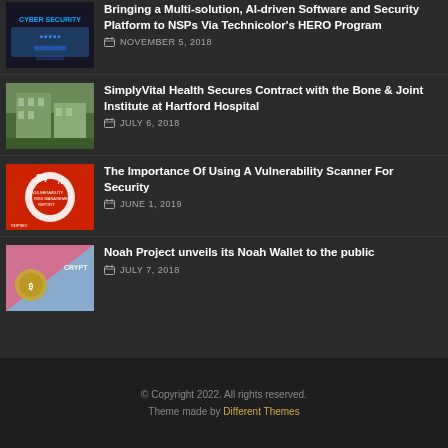Bringing a Multi-solution, AI-driven Software and Security Platform to NSPs Via Technicolor's HERO Program — NOVEMBER 5, 2018
SimplyVital Health Secures Contract with the Bone & Joint Institute at Hartford Hospital — JULY 6, 2018
The Importance Of Using A Vulnerability Scanner For Security — JUNE 1, 2019
Noah Project unveils its Noah Wallet to the public — JULY 7, 2018
© Copyright 2022. All rights reserved. Theme made by Different Themes